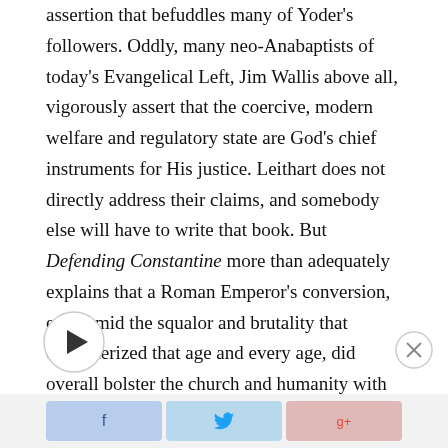assertion that befuddles many of Yoder's followers. Oddly, many neo-Anabaptists of today's Evangelical Left, Jim Wallis above all, vigorously assert that the coercive, modern welfare and regulatory state are God's chief instruments for His justice. Leithart does not directly address their claims, and somebody else will have to write that book. But Defending Constantine more than adequately explains that a Roman Emperor's conversion, even amid the squalor and brutality that characterized that age and every age, did overall bolster the church and humanity with it.